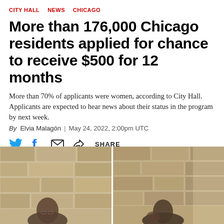CITY HALL   NEWS   CHICAGO
More than 176,000 Chicago residents applied for chance to receive $500 for 12 months
More than 70% of applicants were women, according to City Hall. Applicants are expected to hear news about their status in the program by next week.
By Elvia Malagón | May 24, 2022, 2:00pm UTC
[Figure (other): Social media share icons: Twitter bird, Facebook f, email envelope, share arrow icon with SHARE label]
[Figure (photo): Two photographs side by side showing people at what appears to be an indoor venue with stone or brick walls. Left photo shows a woman with glasses, right photo shows a man.]